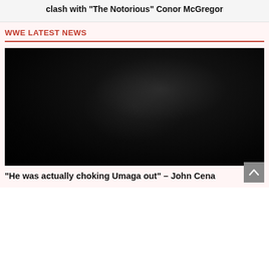clash with "The Notorious" Conor McGregor
WWE LATEST NEWS
[Figure (photo): Dark, mostly black image of what appears to be a wrestling scene, very low light]
“He was actually choking Umaga out” – John Cena